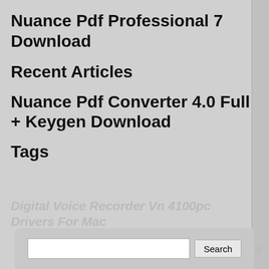Nuance Pdf Professional 7 Download
Recent Articles
Nuance Pdf Converter 4.0 Full + Keygen Download
Tags
Digital Voice Recorder Vn 4100pc Drivers For Mac
Korean Movies With English Subtitles